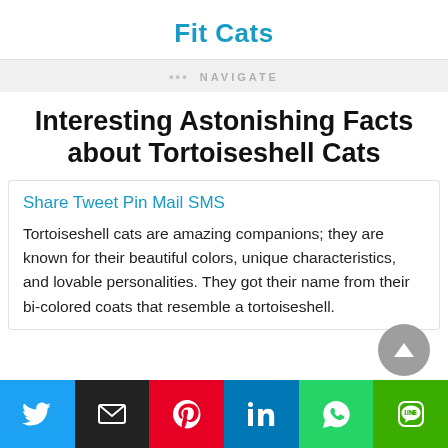Fit Cats
••• NAVIGATE
Interesting Astonishing Facts about Tortoiseshell Cats
Share Tweet Pin Mail SMS
Tortoiseshell cats are amazing companions; they are known for their beautiful colors, unique characteristics, and lovable personalities. They got their name from their bi-colored coats that resemble a tortoiseshell.
[Figure (infographic): Social media share buttons: Twitter (blue), Email (black), Pinterest (red), LinkedIn (blue), WhatsApp (green), LINE (green)]